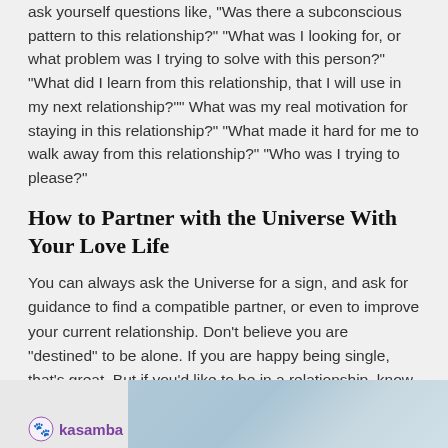ask yourself questions like, "Was there a subconscious pattern to this relationship?" "What was I looking for, or what problem was I trying to solve with this person?" "What did I learn from this relationship, that I will use in my next relationship?"" What was my real motivation for staying in this relationship?" "What made it hard for me to walk away from this relationship?" "Who was I trying to please?"
How to Partner with the Universe With Your Love Life
You can always ask the Universe for a sign, and ask for guidance to find a compatible partner, or even to improve your current relationship. Don't believe you are “destined” to be alone. If you are happy being single, that's great. But if you'd like to be in a relationship, know that there is someone out there for you. The universe will give you as many chances at romance as we are willing to take!
Free Past Life Reading
[Figure (logo): Kasamba logo with purple paw icon and brand name text, with decorative background image on the right side]